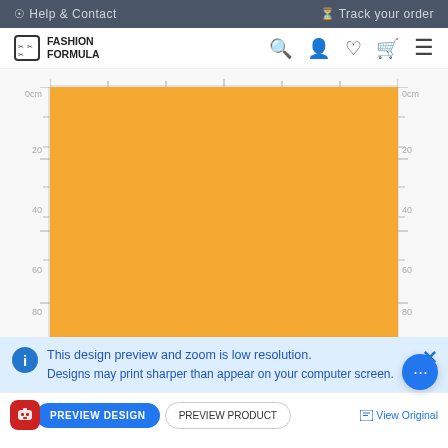Help & Contact    Track your order
[Figure (logo): Fashion Formula logo with scissors icon]
[Figure (screenshot): Orange fabric preview with white floral/rose pattern, shown with rulers on left, right, and top edges. Left ruler shows 0cm, 20, 40, 60, 80. Right ruler shows 0cm, 20, 40, 60, 80.]
This design preview and zoom is low resolution. Designs may print sharper than appear on your computer screen.
PREVIEW DESIGN   PREVIEW PRODUCT
View Original